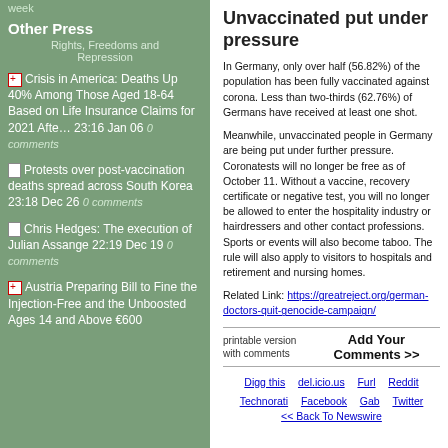week
Other Press
Rights, Freedoms and Repression
Crisis in America: Deaths Up 40% Among Those Aged 18-64 Based on Life Insurance Claims for 2021 Afte… 23:16 Jan 06 0 comments
Protests over post-vaccination deaths spread across South Korea 23:18 Dec 26 0 comments
Chris Hedges: The execution of Julian Assange 22:19 Dec 19 0 comments
Austria Preparing Bill to Fine the Injection-Free and the Unboosted Ages 14 and Above €600
Unvaccinated put under pressure
In Germany, only over half (56.82%) of the population has been fully vaccinated against corona. Less than two-thirds (62.76%) of Germans have received at least one shot.
Meanwhile, unvaccinated people in Germany are being put under further pressure. Coronatests will no longer be free as of October 11. Without a vaccine, recovery certificate or negative test, you will no longer be allowed to enter the hospitality industry or hairdressers and other contact professions. Sports or events will also become taboo. The rule will also apply to visitors to hospitals and retirement and nursing homes.
Related Link: https://greatreject.org/german-doctors-quit-genocide-campaign/
printable version with comments   Add Your Comments >>
Digg this   del.icio.us   Furl   Reddit   Technorati   Facebook   Gab   Twitter
<< Back To Newswire